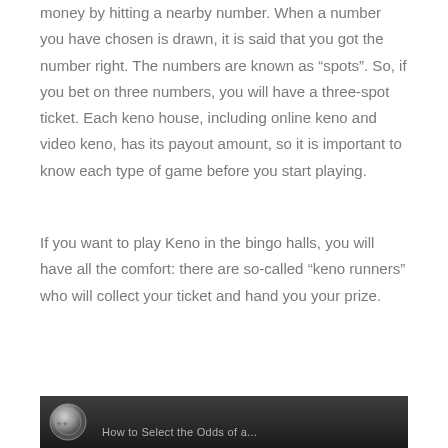money by hitting a nearby number. When a number you have chosen is drawn, it is said that you got the number right. The numbers are known as “spots”. So, if you bet on three numbers, you will have a three-spot ticket. Each keno house, including online keno and video keno, has its payout amount, so it is important to know each type of game before you start playing.
If you want to play Keno in the bingo halls, you will have all the comfort: there are so-called “keno runners” who will collect your ticket and hand you your prize.
[Figure (photo): Dark background image with a coin/medallion on the left side and partial text at the bottom, appearing to be a section header image related to keno.]